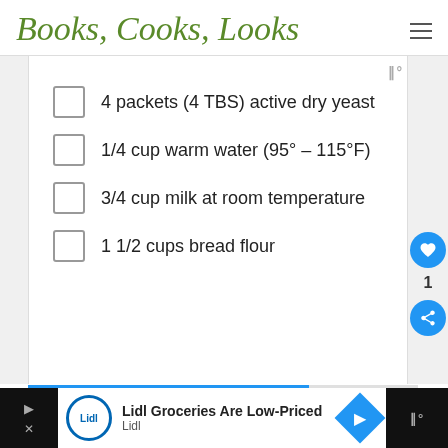Books, Cooks, Looks
4 packets (4 TBS) active dry yeast
1/4 cup warm water (95° – 115°F)
3/4 cup milk at room temperature
1 1/2 cups bread flour
Lidl Groceries Are Low-Priced — Lidl (advertisement)